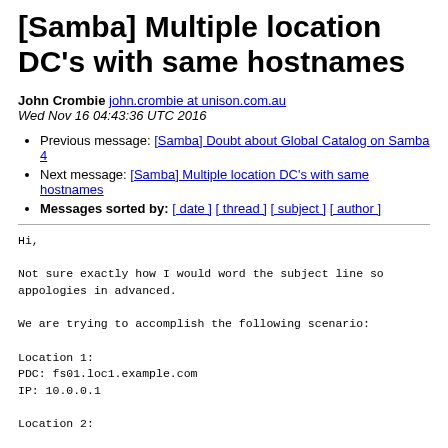[Samba] Multiple location DC's with same hostnames
John Crombie john.crombie at unison.com.au
Wed Nov 16 04:43:36 UTC 2016
Previous message: [Samba] Doubt about Global Catalog on Samba 4
Next message: [Samba] Multiple location DC's with same hostnames
Messages sorted by: [ date ] [ thread ] [ subject ] [ author ]
Hi,

Not sure exactly how I would word the subject line so
appologies in advanced.

We are trying to accomplish the following scenario:

Location 1:
PDC: fs01.loc1.example.com
IP: 10.0.0.1

Location 2: